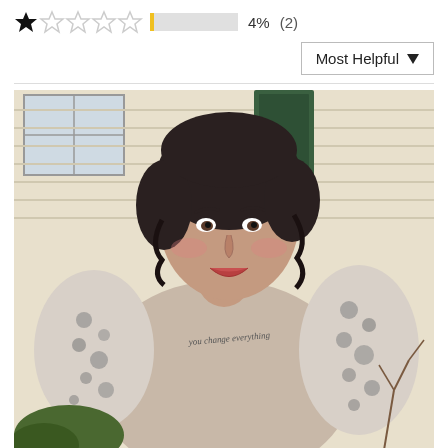[Figure (other): Star rating row showing 1 filled star and 4 empty stars, a short yellow bar, 4% and (2)]
Most Helpful ▼
[Figure (photo): Woman with short dark hair smiling outdoors, wearing a leopard-print sleeve shirt with script text on the front, standing in front of a house with green shutters and shrubs.]